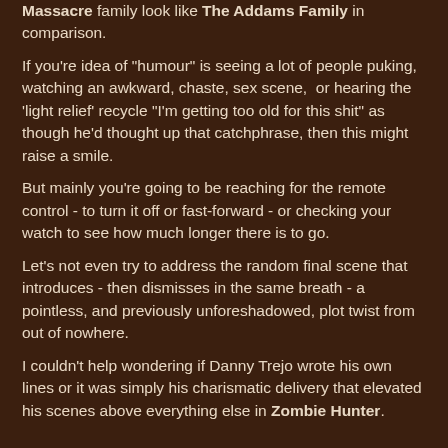Massacre family look like The Addams Family in comparison.
If you're idea of "humour" is seeing a lot of people puking, watching an awkward, chaste, sex scene,  or hearing the 'light relief' recycle "I'm getting too old for this shit" as though he'd thought up that catchphrase, then this might raise a smile.
But mainly you're going to be reaching for the remote control - to turn it off or fast-forward - or checking your watch to see how much longer there is to go.
Let's not even try to address the random final scene that introduces - then dismisses in the same breath - a pointless, and previously unforeshadowed, plot twist from out of nowhere.
I couldn't help wondering if Danny Trejo wrote his own lines or it was simply his charismatic delivery that elevated his scenes above everything else in Zombie Hunter.
Something at the bottom...